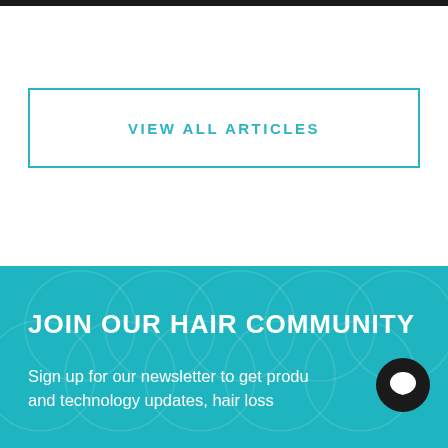[Figure (other): Dark top navigation bar strip]
VIEW ALL ARTICLES
JOIN OUR HAIR COMMUNITY
Sign up for our newsletter to get produ and technology updates, hair loss